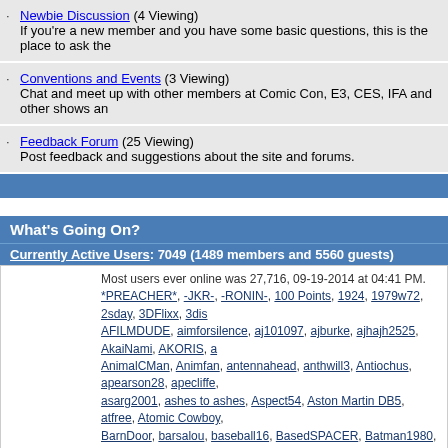Newbie Discussion (4 Viewing) — If you're a new member and you have some basic questions, this is the place to ask them
Conventions and Events (3 Viewing) — Chat and meet up with other members at Comic Con, E3, CES, IFA and other shows and
Feedback Forum (25 Viewing) — Post feedback and suggestions about the site and forums.
What's Going On?
Currently Active Users: 7049 (1489 members and 5560 guests)
Most users ever online was 27,716, 09-19-2014 at 04:41 PM. *PREACHER*, -JKR-, -RONIN-, 100 Points, 1924, 1979w72, 2sday, 3DFlixx, 3dis, AFILMDUDE, aimforsilence, aj101097, ajburke, ajhajh2525, AkaiNami, AKORIS, a, AnimalCMan, Animfan, antennahead, anthwill3, Antiochus, apearson28, apecliffe, asarg2001, ashes to ashes, Aspect54, Aston Martin DB5, atfree, Atomic Cowboy, BarnDoor, barsalou, baseball16, BasedSPACER, Batman1980, batman2000, Batr, Blanc, benrm, Ben C, Ben UK, bernt007, BHolst, Big Kahuna, bigdaddyhorse, bi, BleedingMe, blu-rny, blublob123, BluBonnet, BlueRagtop, BluFan24, Blufan777, B, Box for Pee-wee, boxpilot, brad4846, bradnoyes, Bradsdadg, bradtroyan, Brando, bubbles46, buck135, BudBaxter, Buddy Ackerman, Bugg, BurnBrilliantTrash, Burr, Camaron08, CandymanHappyman, CantelopeSkiz, CANUCKS FAN, Cap.T, capn, ChadGregory, chadma, chadr108, chad 1138, ChaosHD, chase3001, checkerboa, Cinematt, cirik, Citrasena, ClassicFlix, clckworang, cleaver, clintfunhome, CM Mat, CoolKangaroo, cornbean7077, cornbetts, Cortiz, CouncilSpectre, counselorny, co, Croweyes1121, Crowmeister, CRSearle, Cruel Angel, ctbrowncoat, ctiss, cubs 2(